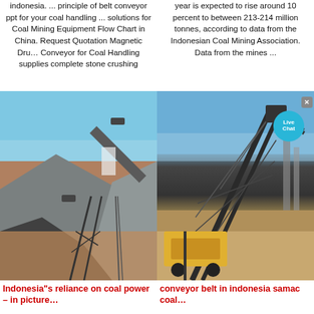indonesia. ... principle of belt conveyor ppt for your coal handling ... solutions for Coal Mining Equipment Flow Chart in China. Request Quotation Magnetic Dru… Conveyor for Coal Handling supplies complete stone crushing
year is expected to rise around 10 percent to between 213-214 million tonnes, according to data from the Indonesian Coal Mining Association. Data from the mines ...
[Figure (photo): Photo of a belt conveyor system on a gravel/aggregate stockpile site with blue sky background]
[Figure (photo): Photo of a large industrial conveyor belt machine on a mining/construction site with blue sky, and a Live Chat bubble overlay and close button]
Indonesia"s reliance on coal power – in picture…
conveyor belt in indonesia samac coal…